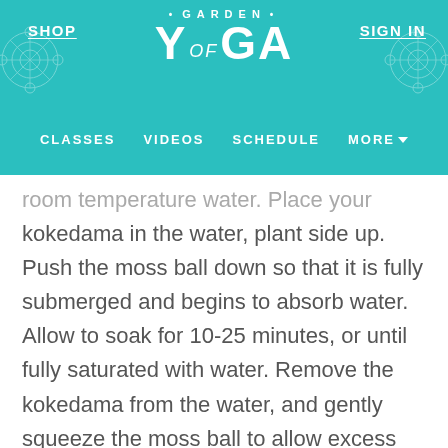SHOP | GARDEN of YOGA | SIGN IN | CLASSES | VIDEOS | SCHEDULE | MORE
room temperature water. Place your kokedama in the water, plant side up. Push the moss ball down so that it is fully submerged and begins to absorb water. Allow to soak for 10-25 minutes, or until fully saturated with water. Remove the kokedama from the water, and gently squeeze the moss ball to allow excess water to drain. Allow the kokedama to drip dry in a colander before replacing it to its given home.